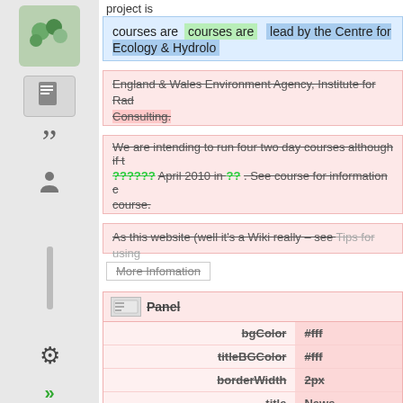[Figure (screenshot): Left sidebar with icons: logo, document icon, quotation mark, person icon, vertical divider, gear icon, double chevron arrows]
project is
courses are   lead by the Centre for Ecology & Hydrology
England & Wales Environment Agency, Institute for Rad... Consulting.
We are intending to run four two day courses although if t... ?????? April 2010 in ?? . See course for information c... course.
As this website (well it's a Wiki really – see Tips for using
More Infomation
|  |  |
| --- | --- |
| bgColor | #fff |
| titleBGColor | #fff |
| borderWidth | 2px |
| title | News |
Panel